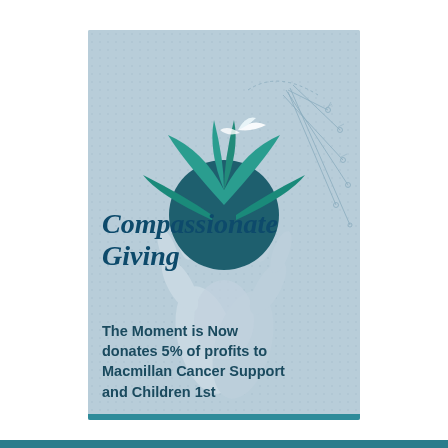[Figure (illustration): Illustrated card with light blue dotted background. Shows two cupped white/grey hands holding a dark teal circular plant with teal leaves and a small white bird/butterfly above. To the upper right, dandelion seeds floating away on thin stems. Below the illustration, cursive bold dark blue text reading 'Compassionate Giving'. Below that, bold dark blue sans-serif text reading 'The Moment is Now donates 5% of profits to Macmillan Cancer Support and Children 1st'.]